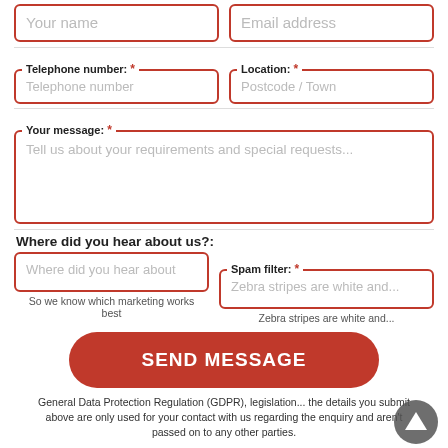Your name
Email address
Telephone number: *
Telephone number
Location: *
Postcode / Town
Your message: *
Tell us about your requirements and special requests...
Where did you hear about us?:
Where did you hear about
So we know which marketing works best
Spam filter: *
Zebra stripes are white and...
Zebra stripes are white and...
SEND MESSAGE
General Data Protection Regulation (GDPR), legislation... the details you submit above are only used for your contact with us regarding the enquiry and aren't passed on to any other parties.